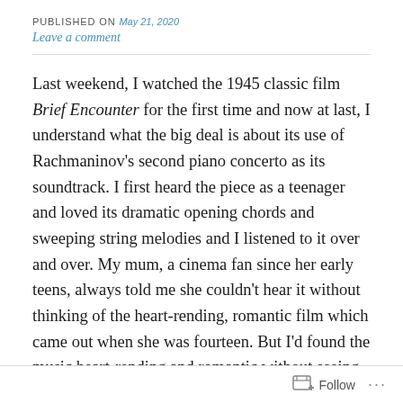PUBLISHED ON May 21, 2020
Leave a comment
Last weekend, I watched the 1945 classic film Brief Encounter for the first time and now at last, I understand what the big deal is about its use of Rachmaninov's second piano concerto as its soundtrack. I first heard the piece as a teenager and loved its dramatic opening chords and sweeping string melodies and I listened to it over and over. My mum, a cinema fan since her early teens, always told me she couldn't hear it without thinking of the heart-rending, romantic film which came out when she was fourteen. But I'd found the music heart-rending and romantic without seeing the
Follow ...